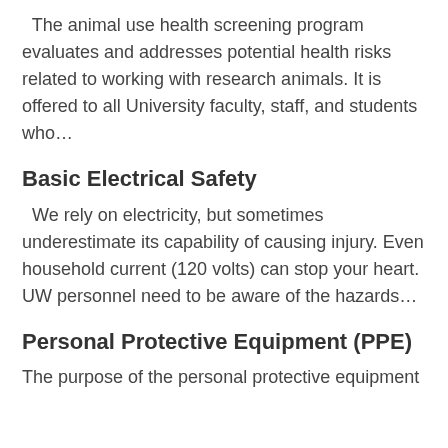The animal use health screening program evaluates and addresses potential health risks related to working with research animals. It is offered to all University faculty, staff, and students who...
Basic Electrical Safety
We rely on electricity, but sometimes underestimate its capability of causing injury. Even household current (120 volts) can stop your heart. UW personnel need to be aware of the hazards...
Personal Protective Equipment (PPE)
The purpose of the personal protective equipment